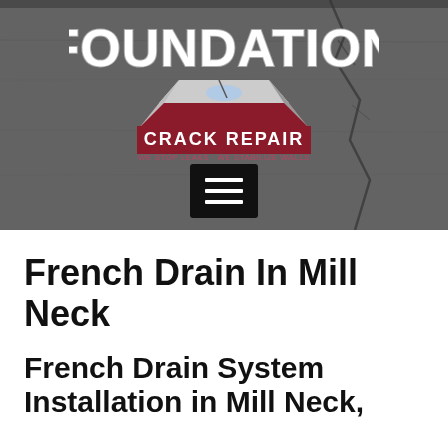[Figure (logo): Foundation Crack Repair company logo on a dark concrete textured background with a crack running diagonally. Logo shows 'FOUNDATION' in large letters at top, a 3D block graphic in the center, and 'CRACK REPAIR' below with tagline 'WE STOP LEAKS · WE STABILIZE WALLS'. Below the logo is a black hamburger menu button.]
French Drain In Mill Neck
French Drain System Installation in Mill Neck,